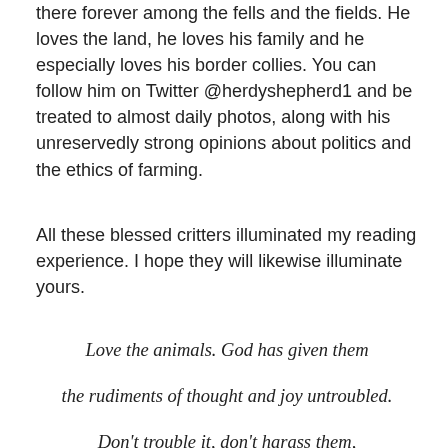there forever among the fells and the fields. He loves the land, he loves his family and he especially loves his border collies. You can follow him on Twitter @herdyshepherd1 and be treated to almost daily photos, along with his unreservedly strong opinions about politics and the ethics of farming.
All these blessed critters illuminated my reading experience. I hope they will likewise illuminate yours.
Love the animals. God has given them

the rudiments of thought and joy untroubled.

Don't trouble it, don't harass them,

don't deprive them of their happiness,